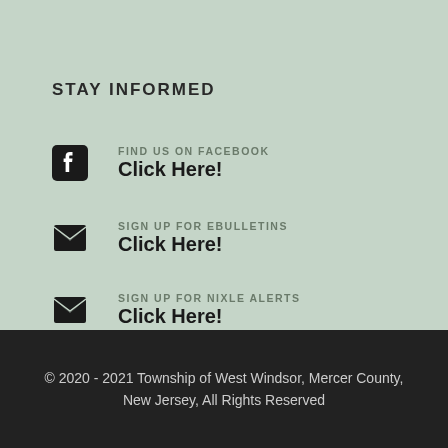STAY INFORMED
FIND US ON FACEBOOK
Click Here!
SIGN UP FOR EBULLETINS
Click Here!
SIGN UP FOR NIXLE ALERTS
Click Here!
© 2020 - 2021 Township of West Windsor, Mercer County, New Jersey, All Rights Reserved